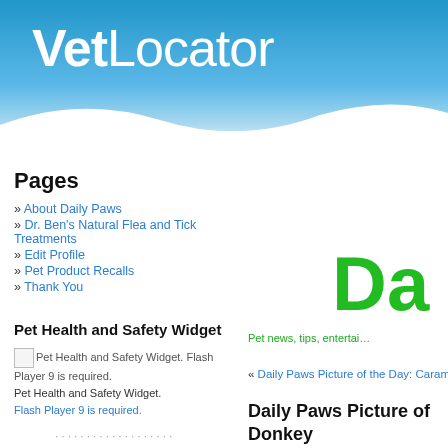VetLocator
Da[ily Paws]
Pet news, tips, entertain[ment]
« Daily Paws Picture of the Day: Carame[l]
Pages
» About Daily Paws
» Dr. Ben's Natural Flea and Tick Treatments
» Edit Profile
» Pet Product Recalls
» Thank You
Pet Health and Safety Widget
[Figure (other): Pet Health and Safety Widget placeholder image with Flash Player 9 required notice]
Pet Health and Safety Widget. Flash Player 9 is required.
Daily Paws Picture of [the Day:] Donkey
Daily Paws for Ashbur[n]